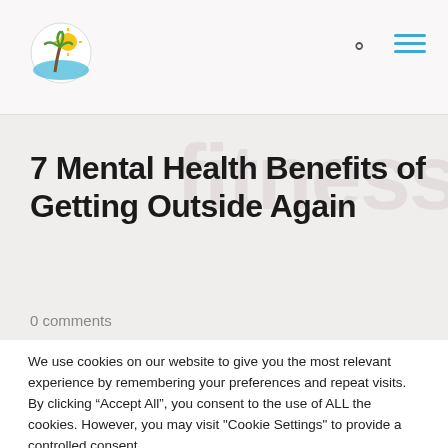[Figure (logo): Circular logo with palm tree and sun, colorful illustration]
7 Mental Health Benefits of Getting Outside Again
0 comments
We use cookies on our website to give you the most relevant experience by remembering your preferences and repeat visits. By clicking “Accept All”, you consent to the use of ALL the cookies. However, you may visit "Cookie Settings" to provide a controlled consent.
Cookie Settings
Accept All